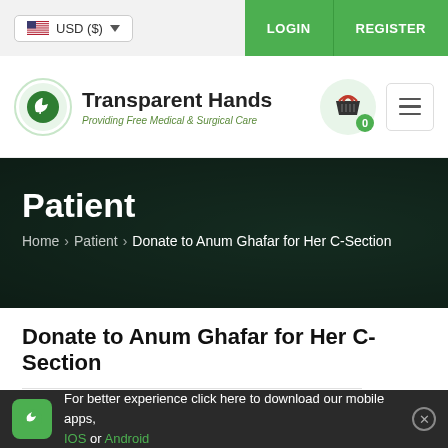USD ($)  LOGIN  REGISTER
[Figure (logo): Transparent Hands logo — circular emblem with green leaf/hand motif, tagline 'Providing Free Medical & Surgical Care']
Patient
Home > Patient > Donate to Anum Ghafar for Her C-Section
Donate to Anum Ghafar for Her C-Section
For better experience click here to download our mobile apps, IOS or Android